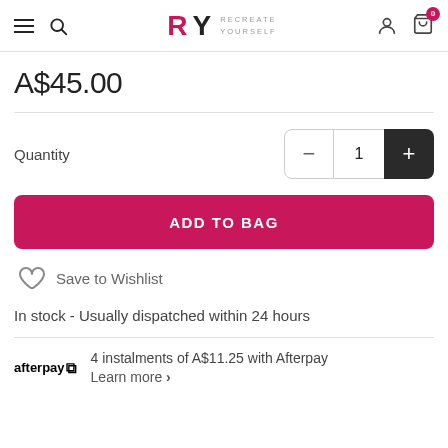RY RECREATE YOURSELF
A$45.00
Quantity  1
ADD TO BAG
Save to Wishlist
In stock - Usually dispatched within 24 hours
4 instalments of A$11.25 with Afterpay
Learn more >